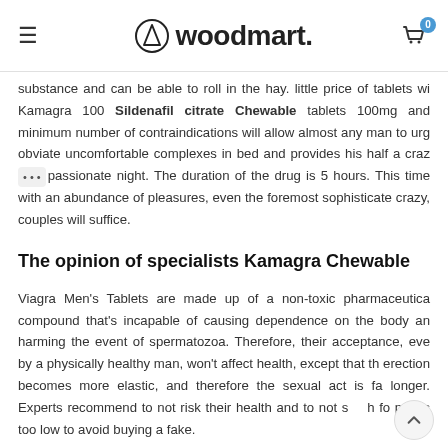woodmart.
substance and can be able to roll in the hay. little price of tablets wi... Kamagra 100 Sildenafil citrate Chewable tablets 100mg and minimum number of contraindications will allow almost any man to urg... obviate uncomfortable complexes in bed and provides his half a craz... passionate night. The duration of the drug is 5 hours. This time... with an abundance of pleasures, even the foremost sophisticate... crazy, couples will suffice.
The opinion of specialists Kamagra Chewable
Viagra Men's Tablets are made up of a non-toxic pharmaceutica... compound that's incapable of causing dependence on the body an... harming the event of spermatozoa. Therefore, their acceptance, eve... by a physically healthy man, won't affect health, except that th... erection becomes more elastic, and therefore the sexual act is fa... longer. Experts recommend to not risk their health and to not s...h fo... prices too low to avoid buying a fake.